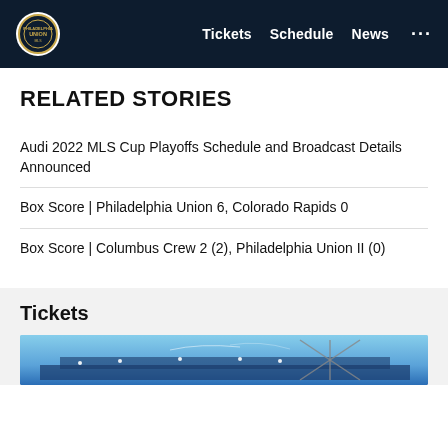Tickets  Schedule  News  ...
RELATED STORIES
Audi 2022 MLS Cup Playoffs Schedule and Broadcast Details Announced
Box Score | Philadelphia Union 6, Colorado Rapids 0
Box Score | Columbus Crew 2 (2), Philadelphia Union II (0)
Tickets
[Figure (photo): Stadium at night with blue sky, bridge structure visible, lit up lights]